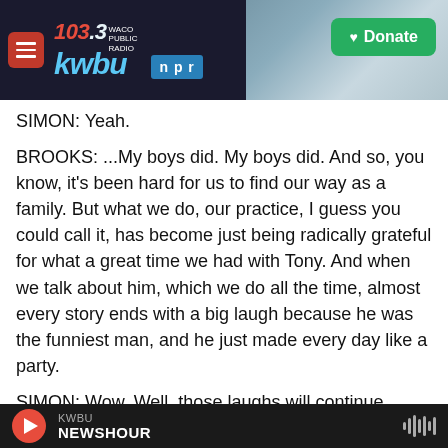[Figure (screenshot): KWBU 103.3 NPR radio station website header with logo, navigation menu icon, NPR badge, and green Donate button over a background photo of industrial buildings]
SIMON: Yeah.
BROOKS: ...My boys did. My boys did. And so, you know, it's been hard for us to find our way as a family. But what we do, our practice, I guess you could call it, has become just being radically grateful for what a great time we had with Tony. And when we talk about him, which we do all the time, almost every story ends with a big laugh because he was the funniest man, and he just made every day like a party.
SIMON: Wow. Well, those laughs will continue.
KWBU NEWSHOUR